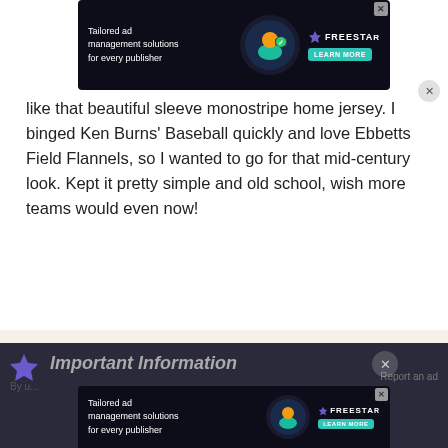[Figure (screenshot): Advertisement banner at top: dark background with text 'Tailored ad management solutions for every publisher', Freestar logo, Learn More button, and illustrated character]
like that beautiful sleeve monostripe home jersey. I binged Ken Burns' Baseball quickly and love Ebbetts Field Flannels, so I wanted to go for that mid-century look. Kept it pretty simple and old school, wish more teams would even now!
[Figure (illustration): Baseball uniform illustration showing Red Wings home and alternate uniforms. Home: white jersey with 'Red Wings' script, 'RIPKEN 5', cap with R logo. Alt: red jersey with wing logo, 'ALTOBELLI 26', cap. Labels 'HOME' and 'ALT' at bottom.]
[Figure (screenshot): Second advertisement banner at bottom with same Freestar ad content on dark background]
Important Information
By u...
Report an ad